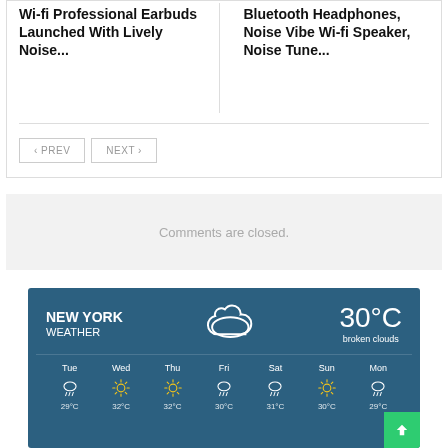Wi-fi Professional Earbuds Launched With Lively Noise...
Bluetooth Headphones, Noise Vibe Wi-fi Speaker, Noise Tune...
< PREV   NEXT >
Comments are closed.
[Figure (infographic): NEW YORK WEATHER widget showing 30°C broken clouds with a cloud icon, and a 7-day forecast (Tue–Mon) with weather icons and temperatures.]